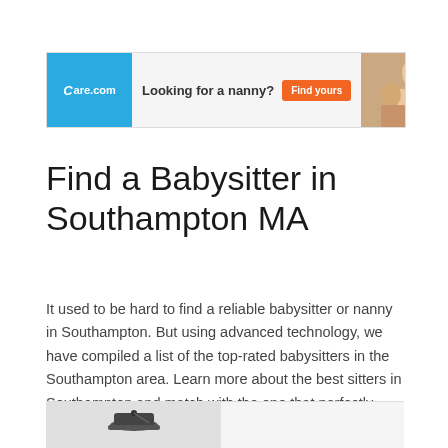[Figure (other): Care.com advertisement banner: blue left panel with Care.com logo, white middle panel with text 'Looking for a nanny?' and orange 'Find yours' button, right panel with photo of woman and child.]
Find a Babysitter in Southampton MA
It used to be hard to find a reliable babysitter or nanny in Southampton. But using advanced technology, we have compiled a list of the top-rated babysitters in the Southampton area. Learn more about the best sitters in Southampton and match with the one that perfectly meets your needs!.
[Figure (photo): Bottom card strip showing a person/figure icon on the left and a blank panel on the right.]